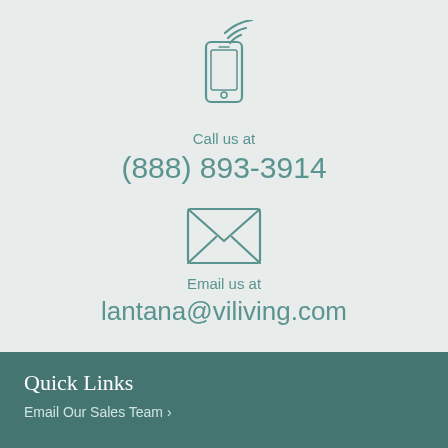[Figure (illustration): Teal outline icon of a mobile phone with wireless signal waves]
Call us at
(888) 893-3914
[Figure (illustration): Teal outline icon of an envelope/email]
Email us at
lantana@viliving.com
Quick Links
Email Our Sales Team >